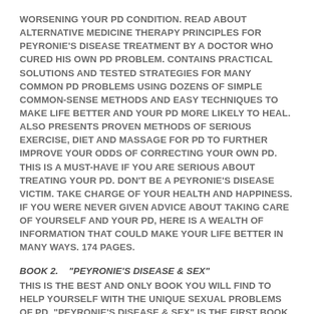WORSENING YOUR PD CONDITION. READ ABOUT ALTERNATIVE MEDICINE THERAPY PRINCIPLES FOR PEYRONIE'S DISEASE TREATMENT BY A DOCTOR WHO CURED HIS OWN PD PROBLEM. CONTAINS PRACTICAL SOLUTIONS AND TESTED STRATEGIES FOR MANY COMMON PD PROBLEMS USING DOZENS OF SIMPLE COMMON-SENSE METHODS AND EASY TECHNIQUES TO MAKE LIFE BETTER AND YOUR PD MORE LIKELY TO HEAL. ALSO PRESENTS PROVEN METHODS OF SERIOUS EXERCISE, DIET AND MASSAGE FOR PD TO FURTHER IMPROVE YOUR ODDS OF CORRECTING YOUR OWN PD. THIS IS A MUST-HAVE IF YOU ARE SERIOUS ABOUT TREATING YOUR PD. DON'T BE A PEYRONIE'S DISEASE VICTIM. TAKE CHARGE OF YOUR HEALTH AND HAPPINESS. IF YOU WERE NEVER GIVEN ADVICE ABOUT TAKING CARE OF YOURSELF AND YOUR PD, HERE IS A WEALTH OF INFORMATION THAT COULD MAKE YOUR LIFE BETTER IN MANY WAYS. 174 PAGES.
BOOK 2. "PEYRONIE'S DISEASE & SEX"
THIS IS THE BEST AND ONLY BOOK YOU WILL FIND TO HELP YOURSELF WITH THE UNIQUE SEXUAL PROBLEMS OF PD. "PEYRONIE'S DISEASE & SEX" IS THE FIRST BOOK EVER WRITTEN ABOUT EFFECTIVELY DEALING WITH AND